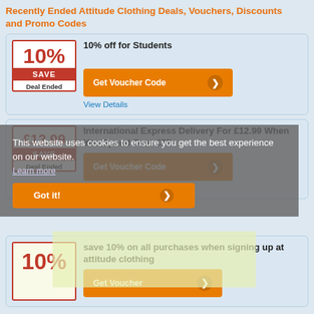Recently Ended Attitude Clothing Deals, Vouchers, Discounts and Promo Codes
10% off for Students
Deal Ended
Get Voucher Code
View Details
International Express Delivery For £12.99 When You Spend Over £75
Deal Ended
Get Voucher Code
View Details
This website uses cookies to ensure you get the best experience on our website.
Learn more
Got it!
save 10% on all purchases when signing up at attitude clothing